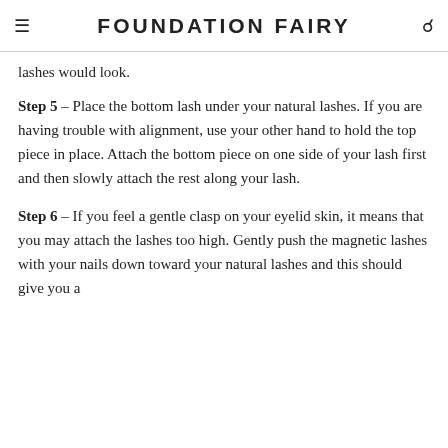FOUNDATION FAIRY
lashes would look.
Step 5 – Place the bottom lash under your natural lashes. If you are having trouble with alignment, use your other hand to hold the top piece in place. Attach the bottom piece on one side of your lash first and then slowly attach the rest along your lash.
Step 6 – If you feel a gentle clasp on your eyelid skin, it means that you may attach the lashes too high. Gently push the magnetic lashes with your nails down toward your natural lashes and this should give you a